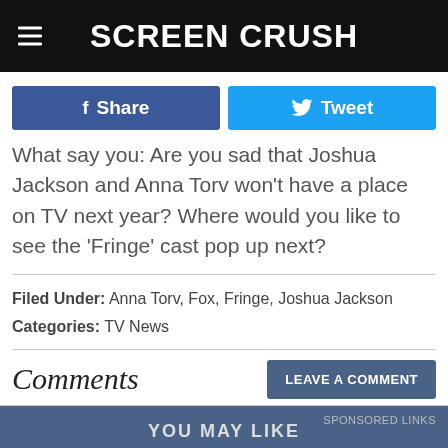SCREEN CRUSH
f Share   Tweet
What say you: Are you sad that Joshua Jackson and Anna Torv won't have a place on TV next year? Where would you like to see the 'Fringe' cast pop up next?
Filed Under: Anna Torv, Fox, Fringe, Joshua Jackson
Categories: TV News
Comments
LEAVE A COMMENT
YOU MAY LIKE   SPONSORED LINKS
[Figure (photo): Partially visible image at the bottom of the page]